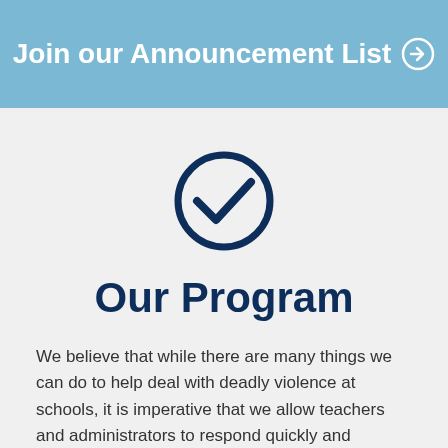Join our Announcement List →
[Figure (illustration): A dark navy blue checkmark inside a circle outline, centered on a light gray background]
Our Program
We believe that while there are many things we can do to help deal with deadly violence at schools, it is imperative that we allow teachers and administrators to respond quickly and effectively.